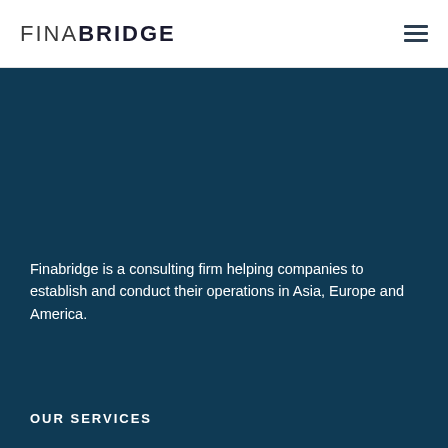[Figure (logo): Finabridge logo with FINA in light weight and BRIDGE in bold, dark text]
Finabridge is a consulting firm helping companies to establish and conduct their operations in Asia, Europe and America.
OUR SERVICES
Import-Export